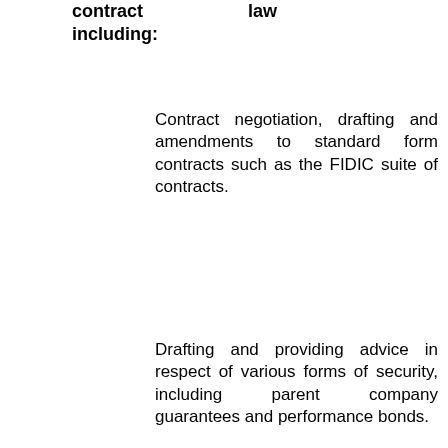contract law including:
Contract negotiation, drafting and amendments to standard form contracts such as the FIDIC suite of contracts.
Drafting and providing advice in respect of various forms of security, including parent company guarantees and performance bonds.
All aspects of construction dispute resolution including